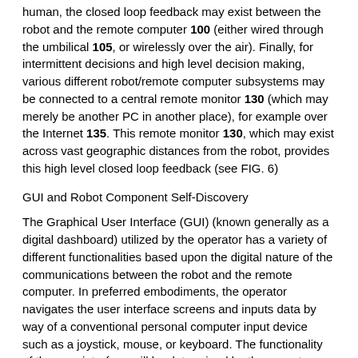human, the closed loop feedback may exist between the robot and the remote computer 100 (either wired through the umbilical 105, or wirelessly over the air). Finally, for intermittent decisions and high level decision making, various different robot/remote computer subsystems may be connected to a central remote monitor 130 (which may merely be another PC in another place), for example over the Internet 135. This remote monitor 130, which may exist across vast geographic distances from the robot, provides this high level closed loop feedback (see FIG. 6)
GUI and Robot Component Self-Discovery
The Graphical User Interface (GUI) (known generally as a digital dashboard) utilized by the operator has a variety of different functionalities based upon the digital nature of the communications between the robot and the remote computer. In preferred embodiments, the operator navigates the user interface screens and inputs data by way of a conventional personal computer input device such as a joystick, mouse, or keyboard. The functionality of the user interface will be determined by the operator selection of a mode of operation, in one of four main modes.